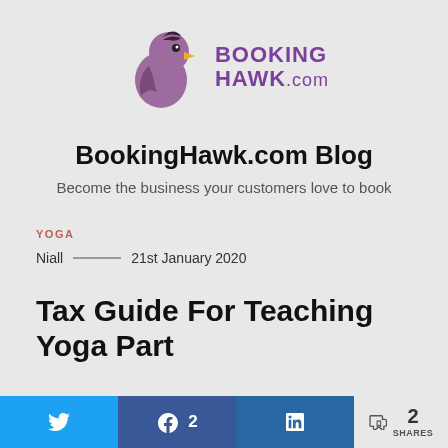[Figure (logo): BookingHawk.com logo with purple hawk bird illustration and bold purple text 'BOOKING HAWK.com']
BookingHawk.com Blog
Become the business your customers love to book
YOGA
Niall — 21st January 2020
Tax Guide For Teaching Yoga Part